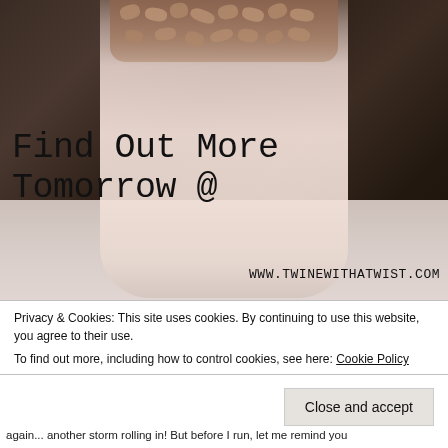[Figure (photo): A stemless glass filled with a creamy pink/white smoothie topped with cereal or granola pieces, set against a rustic wooden background. Overlaid text reads 'Find Out More Tomorrow @' and 'www.TwineWithATwist.com']
Privacy & Cookies: This site uses cookies. By continuing to use this website, you agree to their use.
To find out more, including how to control cookies, see here: Cookie Policy
Close and accept
again... another storm rolling in! But before I run, let me remind you